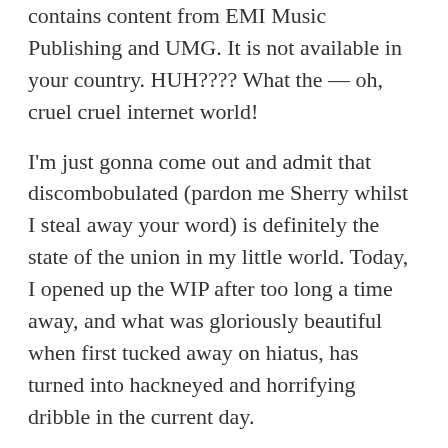contains content from EMI Music Publishing and UMG. It is not available in your country. HUH???? What the — oh, cruel cruel internet world!
I'm just gonna come out and admit that discombobulated (pardon me Sherry whilst I steal away your word) is definitely the state of the union in my little world. Today, I opened up the WIP after too long a time away, and what was gloriously beautiful when first tucked away on hiatus, has turned into hackneyed and horrifying dribble in the current day.
Argggg…definitely taking a moment to let my hair down and sing along with you, Ellen.
Like
REPLY